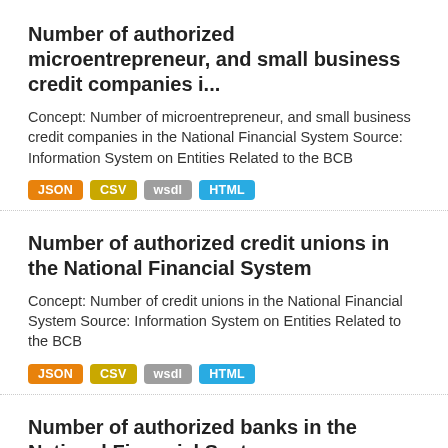Number of authorized microentrepreneur, and small business credit companies i...
Concept: Number of microentrepreneur, and small business credit companies in the National Financial System Source: Information System on Entities Related to the BCB
JSON  CSV  wsdl  HTML
Number of authorized credit unions in the National Financial System
Concept: Number of credit unions in the National Financial System Source: Information System on Entities Related to the BCB
JSON  CSV  wsdl  HTML
Number of authorized banks in the National Financial System